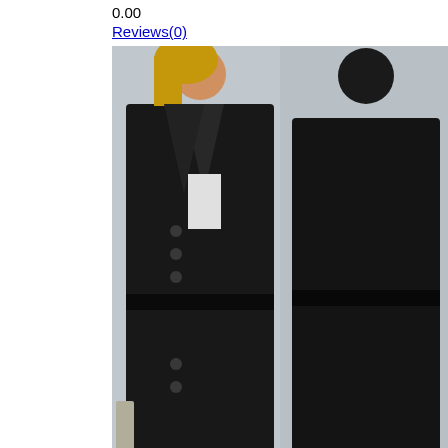0.00
Reviews(0)
[Figure (photo): Front and back view of a black double-breasted self-tie trench coat jacket worn by a model]
•
Fashion Solid Color Notched Lapel Double Breasted Self-tie Jacket
0.00
0.00
Reviews(0)
[Figure (photo): Three hoodie jackets in grey, beige, and red colors]